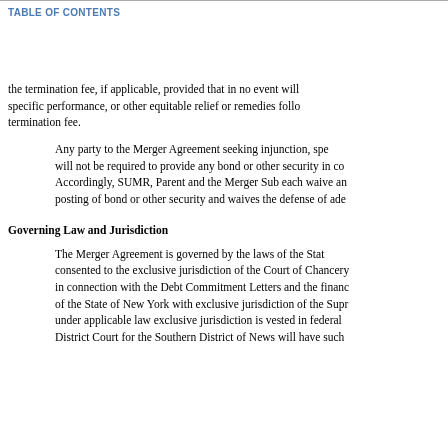TABLE OF CONTENTS
the termination fee, if applicable, provided that in no event will specific performance, or other equitable relief or remedies follo termination fee.
Any party to the Merger Agreement seeking injunction, spe will not be required to provide any bond or other security in co Accordingly, SUMR, Parent and the Merger Sub each waive an posting of bond or other security and waives the defense of ade
Governing Law and Jurisdiction
The Merger Agreement is governed by the laws of the Stat consented to the exclusive jurisdiction of the Court of Chancery in connection with the Debt Commitment Letters and the financ of the State of New York with exclusive jurisdiction of the Supr under applicable law exclusive jurisdiction is vested in federal District Court for the Southern District of News will have such